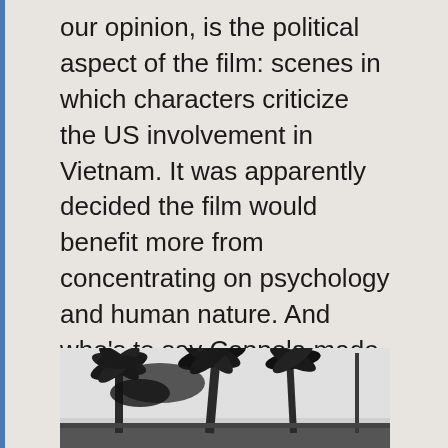our opinion, is the political aspect of the film: scenes in which characters criticize the US involvement in Vietnam. It was apparently decided the film would benefit more from concentrating on psychology and human nature. And who's to say Coppola made a bad call?
[Figure (photo): Black and white photograph of palm trees]